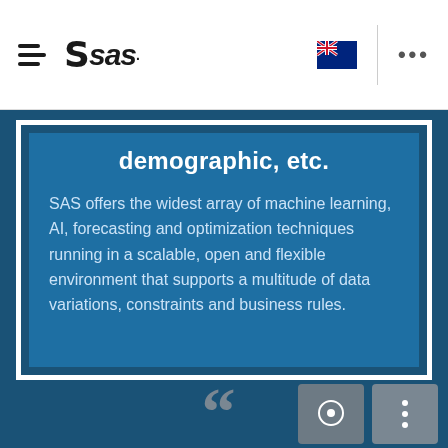SAS
demographic, etc.
SAS offers the widest array of machine learning, AI, forecasting and optimization techniques running in a scalable, open and flexible environment that supports a multitude of data variations, constraints and business rules.